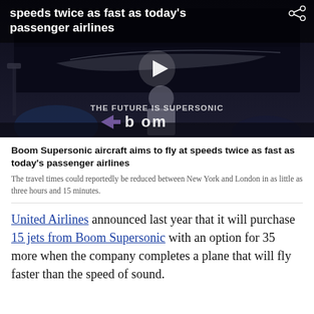[Figure (screenshot): Video thumbnail showing a man on stage in front of a screen that reads 'THE FUTURE IS SUPERSONIC' with the Boom logo. A play button is overlaid on the image. The top bar shows the text 'speeds twice as fast as today's passenger airlines' in white on a dark background.]
Boom Supersonic aircraft aims to fly at speeds twice as fast as today's passenger airlines
The travel times could reportedly be reduced between New York and London in as little as three hours and 15 minutes.
United Airlines announced last year that it will purchase 15 jets from Boom Supersonic with an option for 35 more when the company completes a plane that will fly faster than the speed of sound.